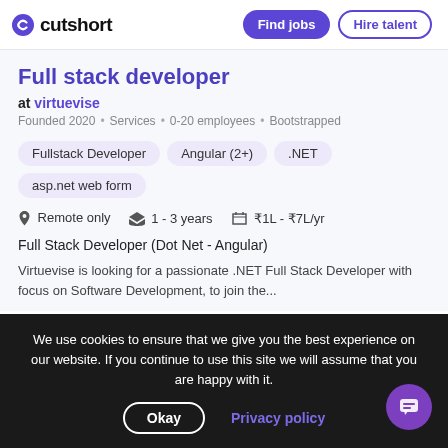cutshort | Find jobs | Hire talent
Full stack developer
at virtuevise
Founded 2020 · Services · 0-20 employees · Bootstrapped
Fullstack Developer
Angular (2+)
.NET
asp.net web form
Remote only   1 - 3 years   ₹1L - ₹7L/yr
Full Stack Developer (Dot Net - Angular)
Virtuevise is looking for a passionate .NET Full Stack Developer with focus on Software Development, to join the...
We use cookies to ensure that we give you the best experience on our website. If you continue to use this site we will assume that you are happy with it.